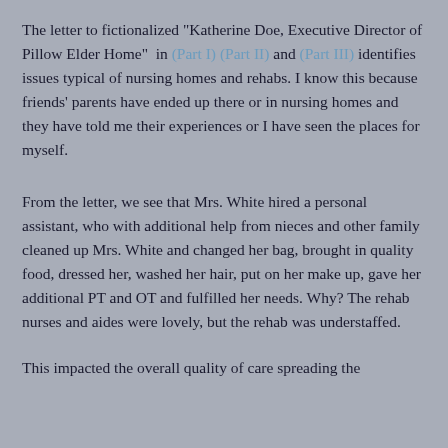The letter to fictionalized "Katherine Doe, Executive Director of Pillow Elder Home" in (Part I) (Part II) and (Part III) identifies issues typical of nursing homes and rehabs. I know this because friends' parents have ended up there or in nursing homes and they have told me their experiences or I have seen the places for myself.
From the letter, we see that Mrs. White hired a personal assistant, who with additional help from nieces and other family cleaned up Mrs. White and changed her bag, brought in quality food, dressed her, washed her hair, put on her make up, gave her additional PT and OT and fulfilled her needs. Why? The rehab nurses and aides were lovely, but the rehab was understaffed.
This impacted the overall quality of care spreading the